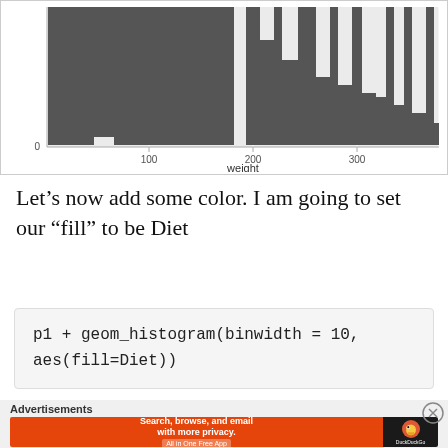[Figure (histogram): Partial histogram showing weight distribution with bars decreasing from left to right, y-axis shows 0, x-axis shows 100, 200, 300]
Let’s now add some color. I am going to set our “fill” to be Diet
[Figure (screenshot): Code block showing: p1 + geom_histogram(binwidth = 10, aes(fill=Diet))]
Advertisements